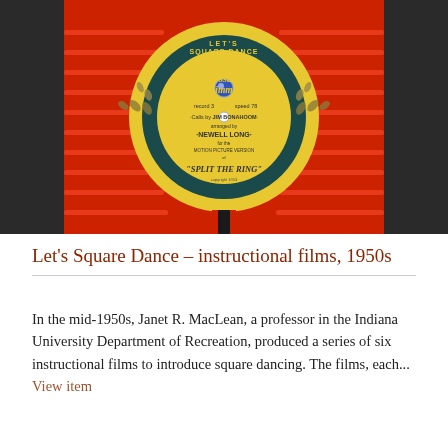[Figure (photo): Close-up photo of a vinyl record with a yellow label. The label reads 'LET'S SQUARE DANCE', 'INDIANA UNIVERSITY audio-visual center', 'Possum in the Simmon Tree', 'record 3, speed 78', 'Calls by JIM BONAHOOM', 'arranged by NEWELL LONG', 'for the MOTION PICTURE VERSION of SPLIT THE RING', 'copyright 1953'. The record is set against a red background.]
Let's Square Dance – instructional films, 1950s
In the mid-1950s, Janet R. MacLean, a professor in the Indiana University Department of Recreation, produced a series of six instructional films to introduce square dancing. The films, each... View item